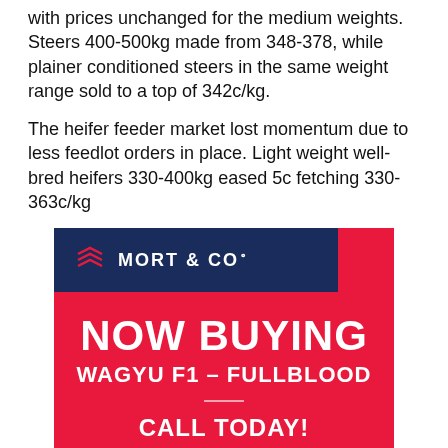with prices unchanged for the medium weights. Steers 400-500kg made from 348-378, while plainer conditioned steers in the same weight range sold to a top of 342c/kg.
The heifer feeder market lost momentum due to less feedlot orders in place. Light weight well-bred heifers 330-400kg eased 5c fetching 330-363c/kg
[Figure (infographic): Mort & Co advertisement. Dark blue header with Mort & Co logo. Red background with text: NOW BUYING, WAGYU F1 – FULLBLOOD, CALL TODAY!]